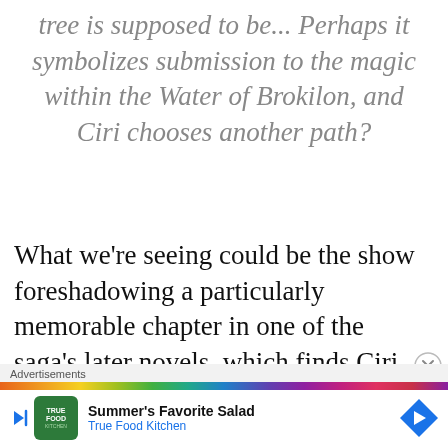tree is supposed to be... Perhaps it symbolizes submission to the magic within the Water of Brokilon, and Ciri chooses another path?
What we're seeing could be the show foreshadowing a particularly memorable chapter in one of the saga's later novels, which finds Ciri
Advertisements — True Food Kitchen: Summer's Favorite Salad